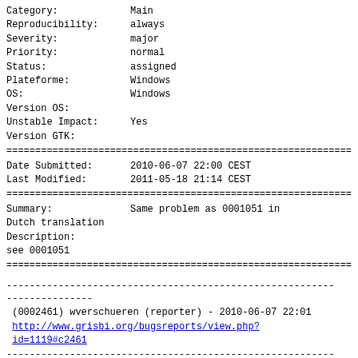| Category: | Main |
| Reproducibility: | always |
| Severity: | major |
| Priority: | normal |
| Status: | assigned |
| Plateforme: | Windows |
| OS: | Windows |
| Version OS: |  |
| Unstable Impact: | Yes |
| Version GTK: |  |
================================================================
| Date Submitted: | 2010-06-07 22:00 CEST |
| Last Modified: | 2011-05-18 21:14 CEST |
================================================================
| Summary: | Same problem as 0001051 in Dutch translation |
| Description: | see 0001051 |
================================================================
(0002461) wverschueren (reporter) - 2010-06-07 22:01
http://www.grisbi.org/bugsreports/view.php?id=1119#c2461
Once created a transference between accounts (category: transfer to), the amount
withdrawn from the source account doesn't appear as a